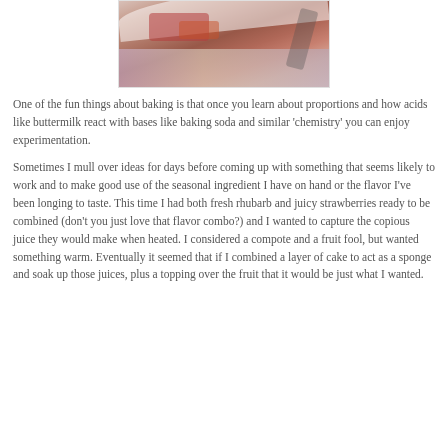[Figure (photo): Partial food photo showing a plate with what appears to be a strawberry rhubarb dessert, on a floral background. Only the bottom portion of the image is visible.]
One of the fun things about baking is that once you learn about proportions and how acids like buttermilk react with bases like baking soda and similar 'chemistry' you can enjoy experimentation.
Sometimes I mull over ideas for days before coming up with something that seems likely to work and to make good use of the seasonal ingredient I have on hand or the flavor I've been longing to taste. This time I had both fresh rhubarb and juicy strawberries ready to be combined (don't you just love that flavor combo?) and I wanted to capture the copious juice they would make when heated. I considered a compote and a fruit fool, but wanted something warm. Eventually it seemed that if I combined a layer of cake to act as a sponge and soak up those juices, plus a topping over the fruit that it would be just what I wanted.